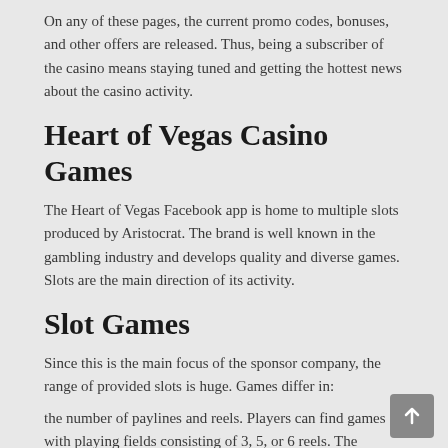On any of these pages, the current promo codes, bonuses, and other offers are released. Thus, being a subscriber of the casino means staying tuned and getting the hottest news about the casino activity.
Heart of Vegas Casino Games
The Heart of Vegas Facebook app is home to multiple slots produced by Aristocrat. The brand is well known in the gambling industry and develops quality and diverse games. Slots are the main direction of its activity.
Slot Games
Since this is the main focus of the sponsor company, the range of provided slots is huge. Games differ in:
the number of paylines and reels. Players can find games with playing fields consisting of 3, 5, or 6 reels. The number of paylines ranges from 25 to 245;
the mechanics used (this point involves products with Books, Megaways, Progressive Jackpots, clusters);